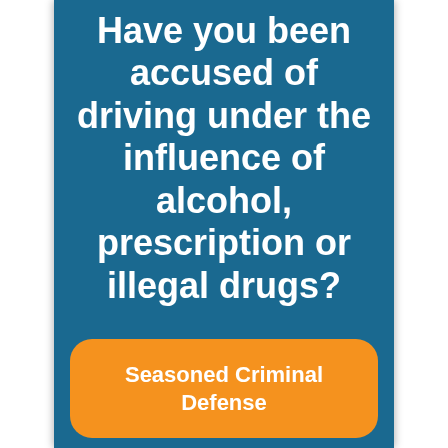Have you been accused of driving under the influence of alcohol, prescription or illegal drugs?
Seasoned Criminal Defense